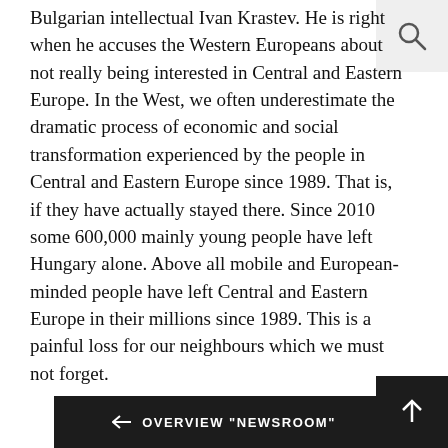Bulgarian intellectual Ivan Krastev. He is right when he accuses the Western Europeans about not really being interested in Central and Eastern Europe. In the West, we often underestimate the dramatic process of economic and social transformation experienced by the people in Central and Eastern Europe since 1989. That is, if they have actually stayed there. Since 2010 some 600,000 mainly young people have left Hungary alone. Above all mobile and European-minded people have left Central and Eastern Europe in their millions since 1989. This is a painful loss for our neighbours which we must not forget.
Interview: Gerd Appenzeller and Albrecht Meier.
www.tagesspiegel.de
[Figure (other): Search icon in top right corner]
[Figure (other): Back arrow button with text OVERVIEW "NEWSROOM" at bottom center]
[Figure (other): Up arrow button at bottom right]